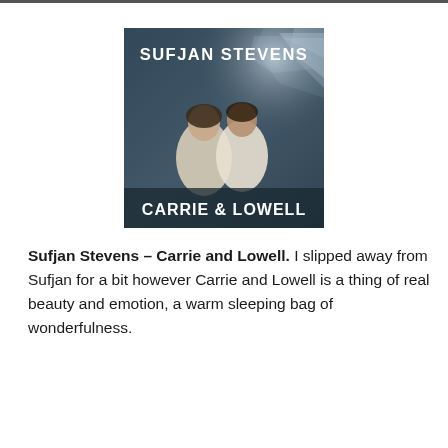[Figure (illustration): Album cover for Sufjan Stevens – Carrie & Lowell. Dark teal/grey background with two people (a man and woman) posing together. White bold text at top reads 'SUFJAN STEVENS' and at bottom reads 'CARRIE & LOWELL'.]
Sufjan Stevens – Carrie and Lowell. I slipped away from Sufjan for a bit however Carrie and Lowell is a thing of real beauty and emotion, a warm sleeping bag of wonderfulness.